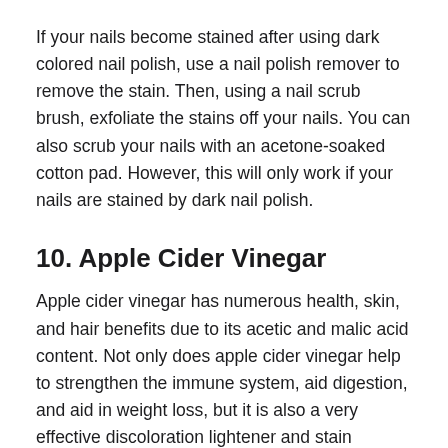If your nails become stained after using dark colored nail polish, use a nail polish remover to remove the stain. Then, using a nail scrub brush, exfoliate the stains off your nails. You can also scrub your nails with an acetone-soaked cotton pad. However, this will only work if your nails are stained by dark nail polish.
10. Apple Cider Vinegar
Apple cider vinegar has numerous health, skin, and hair benefits due to its acetic and malic acid content. Not only does apple cider vinegar help to strengthen the immune system, aid digestion, and aid in weight loss, but it is also a very effective discoloration lightener and stain remover.